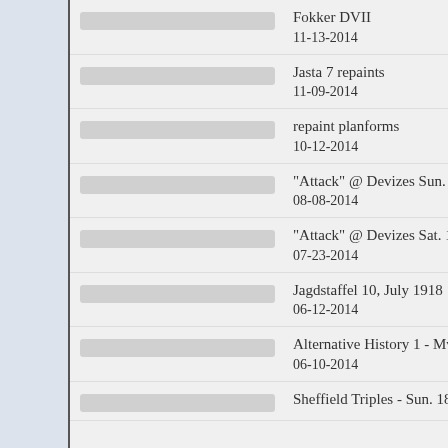Fokker DVII
11-13-2014
Jasta 7 repaints
11-09-2014
repaint planforms
10-12-2014
"Attack" @ Devizes Sun. 20-07-2014 (Day 2)
08-08-2014
"Attack" @ Devizes Sat. 19-07-2014 (Day 1)
07-23-2014
Jagdstaffel 10, July 1918
06-12-2014
Alternative History 1 - MvR
06-10-2014
Sheffield Triples - Sun. 18-05-2014 (Day 2)